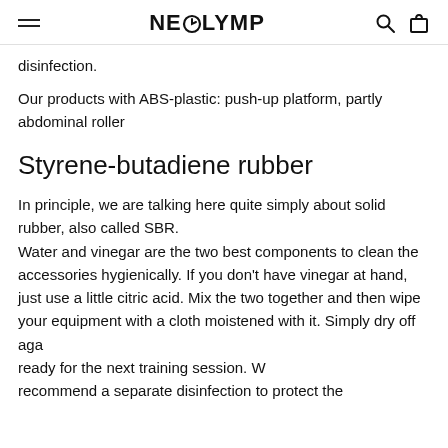NEOLYMP
disinfection.
Our products with ABS-plastic: push-up platform, partly abdominal roller
Styrene-butadiene rubber
In principle, we are talking here quite simply about solid rubber, also called SBR.
Water and vinegar are the two best components to clean the accessories hygienically. If you don't have vinegar at hand, just use a little citric acid. Mix the two together and then wipe your equipment with a cloth moistened with it. Simply dry off again and it is ready for the next training session. We recommend a separate disinfection to protect the